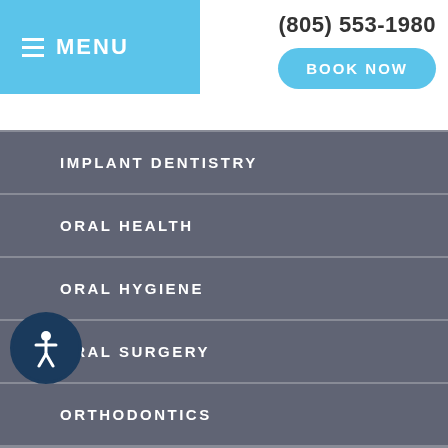MENU | (805) 553-1980 | BOOK NOW
IMPLANT DENTISTRY
ORAL HEALTH
ORAL HYGIENE
ORAL SURGERY
ORTHODONTICS
PEDIATRIC DENTISTRY
PERIODONTAL THERAPY